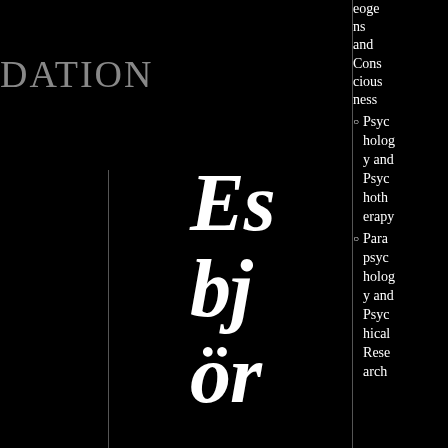DATION
Es bj ör n– H ar
eoge ns and Consciousness Psychology and Psychotherapy
Parapsychology and Psychical Research